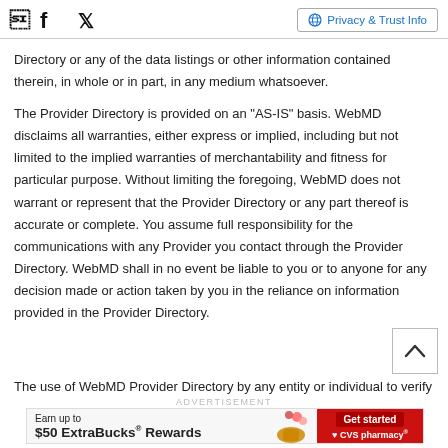Facebook icon, Twitter icon, Privacy & Trust Info
Directory or any of the data listings or other information contained therein, in whole or in part, in any medium whatsoever.
The Provider Directory is provided on an "AS-IS" basis. WebMD disclaims all warranties, either express or implied, including but not limited to the implied warranties of merchantability and fitness for particular purpose. Without limiting the foregoing, WebMD does not warrant or represent that the Provider Directory or any part thereof is accurate or complete. You assume full responsibility for the communications with any Provider you contact through the Provider Directory. WebMD shall in no event be liable to you or to anyone for any decision made or action taken by you in the reliance on information provided in the Provider Directory.
The use of WebMD Provider Directory by any entity or individual to verify the
ADVERTISEMENT
[Figure (other): CVS Pharmacy advertisement banner: Earn up to $50 ExtraBucks Rewards. Get started button. CVS pharmacy logo.]